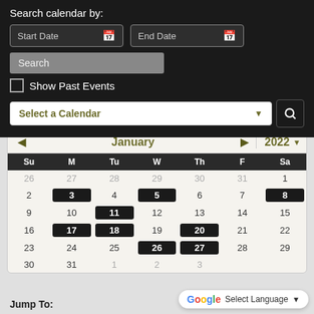Search calendar by:
[Figure (screenshot): Calendar search interface with Start Date and End Date inputs, Search text field, Show Past Events checkbox, Select a Calendar dropdown, and search button]
[Figure (other): January 2022 calendar showing events on days 3, 5, 8, 11, 17, 18, 20, 26, 27 highlighted in black]
Jump To: